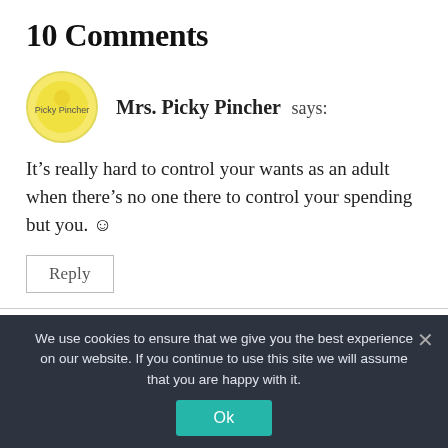10 Comments
Mrs. Picky Pincher says:
It’s really hard to control your wants as an adult when there’s no one there to control your spending but you. ☺
Reply
We use cookies to ensure that we give you the best experience on our website. If you continue to use this site we will assume that you are happy with it.
Ok